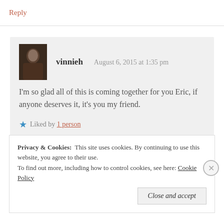Reply
vinnieh    August 6, 2015 at 1:35 pm
I'm so glad all of this is coming together for you Eric, if anyone deserves it, it's you my friend.
★ Liked by 1 person
Reply
Privacy & Cookies:  This site uses cookies. By continuing to use this website, you agree to their use. To find out more, including how to control cookies, see here: Cookie Policy
Close and accept